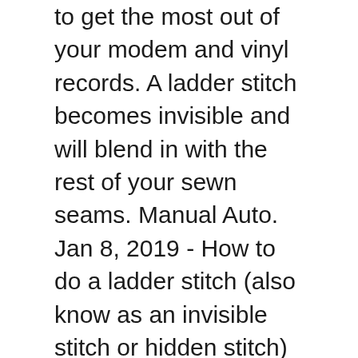to get the most out of your modem and vinyl records. A ladder stitch becomes invisible and will blend in with the rest of your sewn seams. Manual Auto. Jan 8, 2019 - How to do a ladder stitch (also know as an invisible stitch or hidden stitch) step by step video tutorial. This plant-based protein is keto-friendly and supports healthy recovery post-workout. $10.97 to $18.55. How to Do A Ladder Stitch Or Invisible Stitch by Easy Sewing For Beginners. Bring the needle back through both beads. It even has a see-through case back to see the movement at work. If you cuff your jeans, hoping to show off your insider knowledge that is your selvedge, you'll also be showing off the fact that you went to bed ti... For next to some of this...